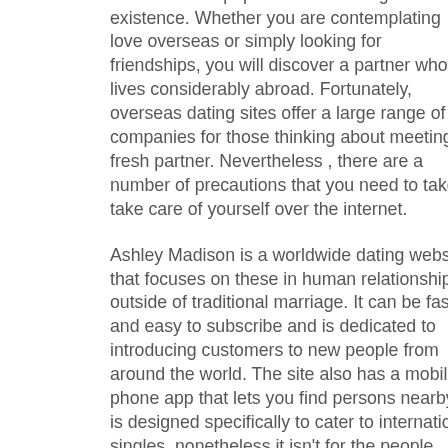become more popular because of global existence. Whether you are contemplating love overseas or simply looking for friendships, you will discover a partner who all lives considerably abroad. Fortunately, overseas dating sites offer a large range of companies for those thinking about meeting a fresh partner. Nevertheless , there are a number of precautions that you need to take to take care of yourself over the internet.
Ashley Madison is a worldwide dating website that focuses on these in human relationships outside of traditional marriage. It can be fast and easy to subscribe and is dedicated to introducing customers to new people from around the world. The site also has a mobile phone app that lets you find persons nearby. It is designed specifically to cater to international singles, nonetheless it isn't for the people looking for severe relationships. Nevertheless , if you are looking for any more informal international online dating experience, you should look at Ashley Madison.